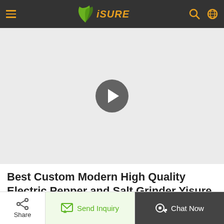iSURE
[Figure (screenshot): Video player area with a play button (gray circle with white triangle) on a light gray background]
Best Custom Modern High Quality Electric Pepper and Salt Grinder Yisure Factory
[Figure (other): Bottom action bar with Share button, Send Inquiry button, and Chat Now button]